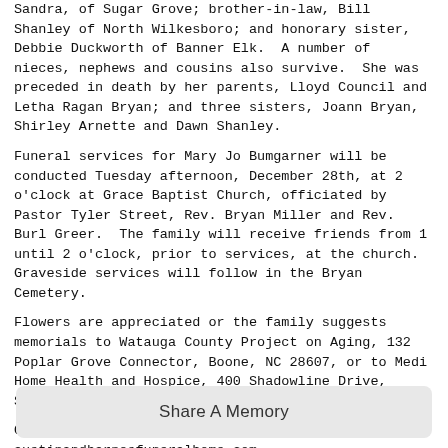Sandra, of Sugar Grove; brother-in-law, Bill Shanley of North Wilkesboro; and honorary sister, Debbie Duckworth of Banner Elk.  A number of nieces, nephews and cousins also survive.  She was preceded in death by her parents, Lloyd Council and Letha Ragan Bryan; and three sisters, Joann Bryan, Shirley Arnette and Dawn Shanley.
Funeral services for Mary Jo Bumgarner will be conducted Tuesday afternoon, December 28th, at 2 o'clock at Grace Baptist Church, officiated by Pastor Tyler Street, Rev. Bryan Miller and Rev. Burl Greer.  The family will receive friends from 1 until 2 o'clock, prior to services, at the church.  Graveside services will follow in the Bryan Cemetery.
Flowers are appreciated or the family suggests memorials to Watauga County Project on Aging, 132 Poplar Grove Connector, Boone, NC 28607, or to Medi Home Health and Hospice, 400 Shadowline Drive, Suite 100B, Boone, NC 28607.
Online condolences may be shared at austinandbarnesfuneralhome.com
Austin & Barnes Funeral Home and Crematory is serving the
Share A Memory